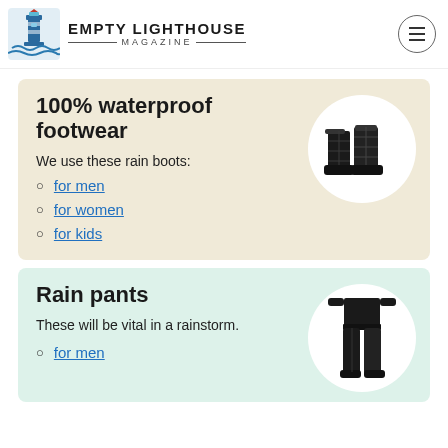EMPTY LIGHTHOUSE MAGAZINE
100% waterproof footwear
We use these rain boots:
for men
for women
for kids
[Figure (photo): Black quilted rain boots]
Rain pants
These will be vital in a rainstorm.
for men
[Figure (photo): Person wearing black rain pants]